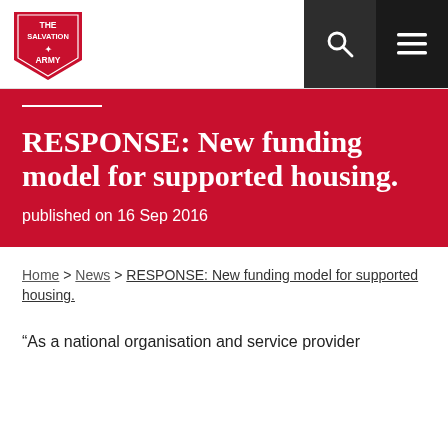The Salvation Army
RESPONSE: New funding model for supported housing.
published on 16 Sep 2016
Home > News > RESPONSE: New funding model for supported housing.
“As a national organisation and service provider